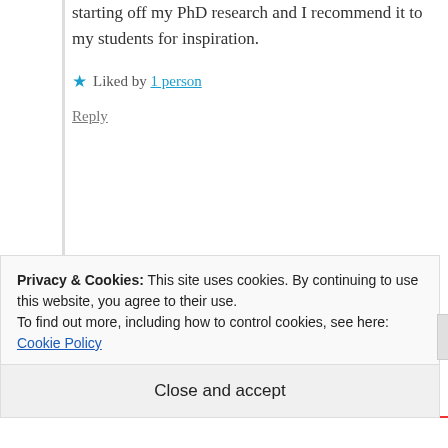starting off my PhD research and I recommend it to my students for inspiration.
★ Liked by 1 person
Reply
Herve Moal says:
September 2, 2018 at 8:23 am
Privacy & Cookies: This site uses cookies. By continuing to use this website, you agree to their use.
To find out more, including how to control cookies, see here: Cookie Policy
Close and accept